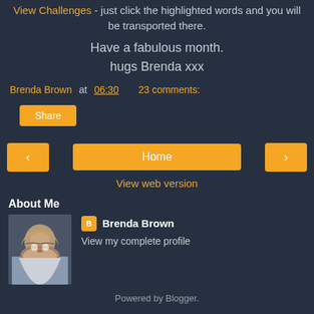View Challenges - just click the highlighted words and you will be transported there.
Have a fabulous month.
hugs Brenda xxx
Brenda Brown at 06:30    23 comments:
Share
Home
View web version
About Me
[Figure (photo): Profile photo of Brenda Brown, a woman with glasses and long blonde hair]
Brenda Brown
View my complete profile
Powered by Blogger.